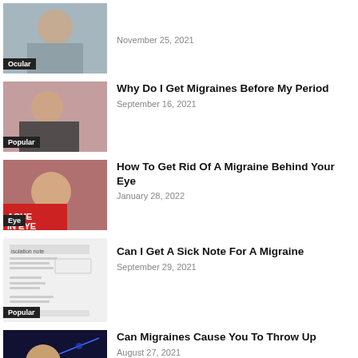[Figure (photo): Person looking at something, with Ocular tag label]
November 25, 2021
[Figure (photo): Woman lying in bed looking unwell, Popular tag label]
Why Do I Get Migraines Before My Period
September 16, 2021
[Figure (photo): Woman holding head in pain, Eye tag label]
How To Get Rid Of A Migraine Behind Your Eye
January 28, 2022
[Figure (photo): Isolation note document image, Popular tag label]
Can I Get A Sick Note For A Migraine
September 29, 2021
[Figure (photo): Person with head in hands against blue neural background]
Can Migraines Cause You To Throw Up
August 27, 2021